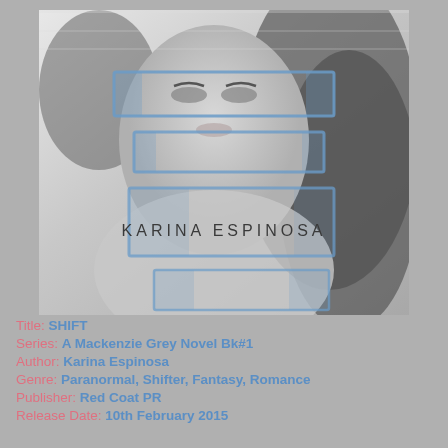[Figure (illustration): Book cover for SHIFT by Karina Espinosa. Black and white photo of a woman's face and upper body, overlaid with blue rectangular frame elements arranged vertically. Author name 'KARINA ESPINOSA' printed across the middle in dark text.]
Title: SHIFT
Series: A Mackenzie Grey Novel Bk#1
Author: Karina Espinosa
Genre: Paranormal, Shifter, Fantasy, Romance
Publisher: Red Coat PR
Release Date: 10th February 2015